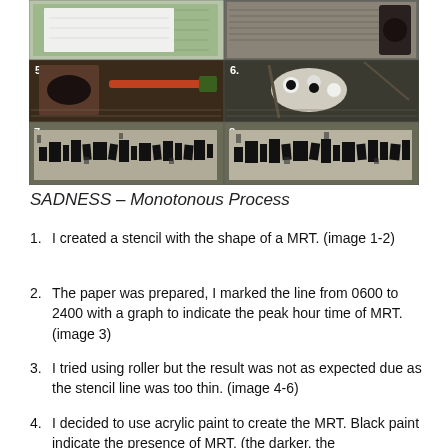[Figure (photo): Grid of 6 numbered process photos showing stencil making and MRT art process. Photos 5, 6 show craft tools and paint palette. Photos 7, 8 show stamped/painted MRT patterns on paper.]
SADNESS – Monotonous Process
I created a stencil with the shape of a MRT. (image 1-2)
The paper was prepared, I marked the line from 0600 to 2400 with a graph to indicate the peak hour time of MRT. (image 3)
I tried using roller but the result was not as expected due as the stencil line was too thin. (image 4-6)
I decided to use acrylic paint to create the MRT. Black paint indicate the presence of MRT. (the darker, the